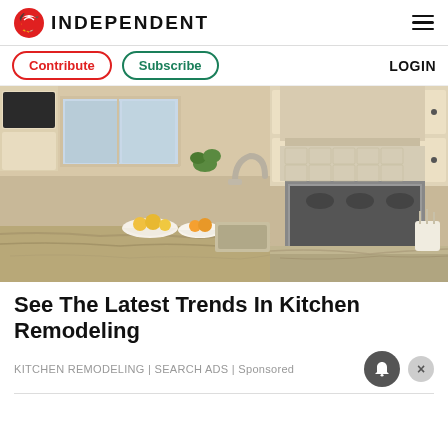INDEPENDENT
Contribute  Subscribe  LOGIN
[Figure (photo): Luxury kitchen interior with granite countertops, stainless steel appliances, white cabinetry, and a kitchen island with fruit bowls]
See The Latest Trends In Kitchen Remodeling
KITCHEN REMODELING | SEARCH ADS | Sponsored